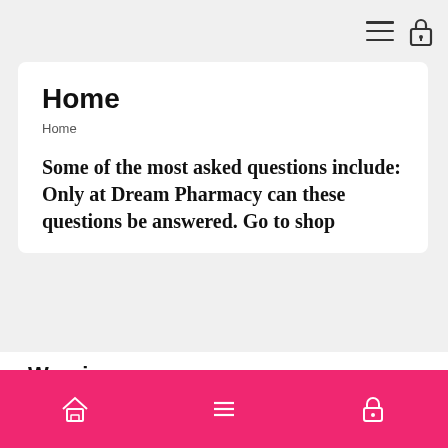Home
Home
Some of the most asked questions include: Only at Dream Pharmacy can these questions be answered. Go to shop
Warning
We use cookies on our website to give you the most relevant experience by remembering your preferences and repeat visits. By clicking “Accept”, you consent to the use of ALL the cookies.
Do not sell my personal information.